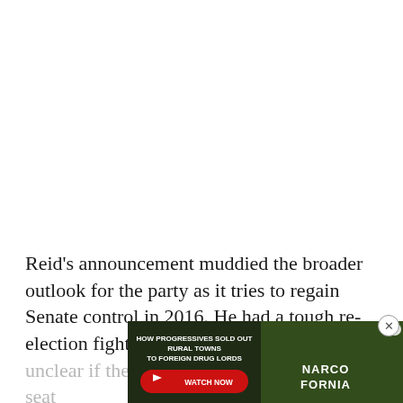Reid's announcement muddied the broader outlook for the party as it tries to regain Senate control in 2016. He had a tough re-election fight in Nevada in 2010 and it was unclear if the Democrats could hold onto his seat next year.
[Figure (other): Advertisement overlay: 'HOW PROGRESSIVES SOLD OUT RURAL TOWNS TO FOREIGN DRUG LORDS' with WATCH NOW button and NARCOFORNIA logo/branding over a green leafy background. Includes an X close button.]